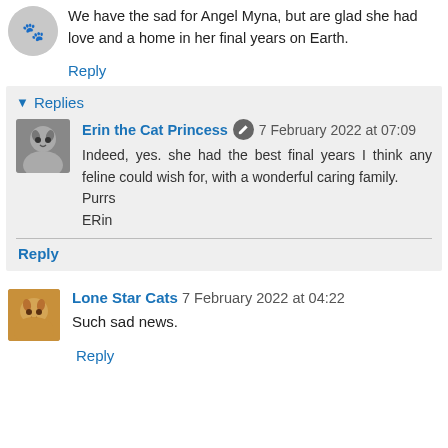We have the sad for Angel Myna, but are glad she had love and a home in her final years on Earth.
Reply
Replies
Erin the Cat Princess 7 February 2022 at 07:09
Indeed, yes. she had the best final years I think any feline could wish for, with a wonderful caring family.
Purrs
ERin
Reply
Lone Star Cats 7 February 2022 at 04:22
Such sad news.
Reply